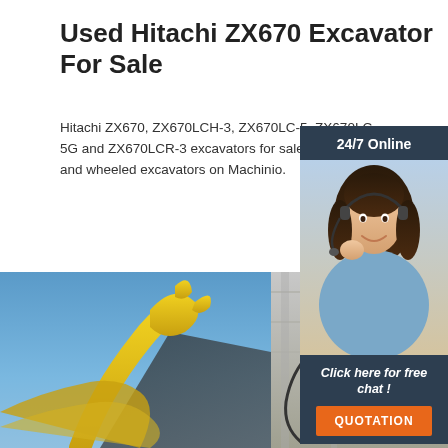Used Hitachi ZX670 Excavator For Sale
Hitachi ZX670, ZX670LCH-3, ZX670LC-5, ZX670LC-5G and ZX670LCR-3 excavators for sale. Find tracked and wheeled excavators on Machinio.
Get Price
[Figure (photo): Customer support representative woman with headset, smiling, with 24/7 Online label and chat widget showing 'Click here for free chat!' and QUOTATION button]
[Figure (photo): Two excavator images side by side: left shows yellow excavator bucket against blue sky, right shows yellow excavator hydraulic arm detail in a building]